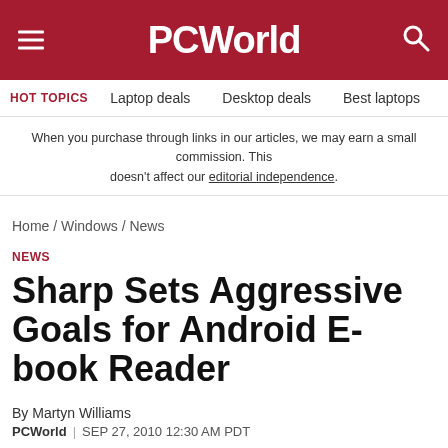PCWorld
HOT TOPICS  Laptop deals  Desktop deals  Best laptops  Best ch
When you purchase through links in our articles, we may earn a small commission. This doesn't affect our editorial independence.
Home / Windows / News
NEWS
Sharp Sets Aggressive Goals for Android E-book Reader
By Martyn Williams
PCWorld  |  SEP 27, 2010 12:30 AM PDT